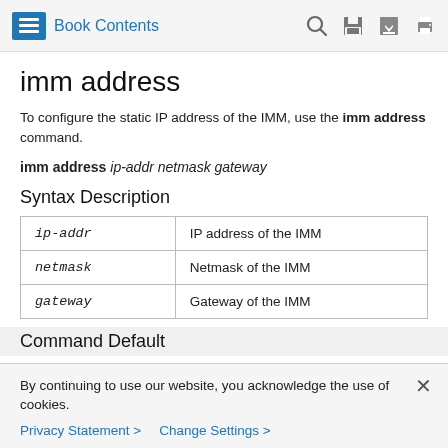Book Contents
imm address
To configure the static IP address of the IMM, use the imm address command.
imm address ip-addr netmask gateway
Syntax Description
|  |  |
| --- | --- |
| ip-addr | IP address of the IMM |
| netmask | Netmask of the IMM |
| gateway | Gateway of the IMM |
Command Default
By continuing to use our website, you acknowledge the use of cookies.
Privacy Statement > Change Settings >